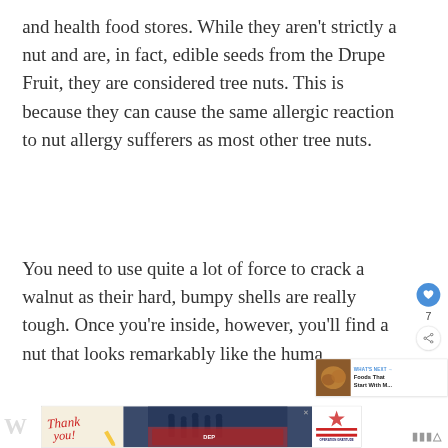and health food stores. While they aren't strictly a nut and are, in fact, edible seeds from the Drupe Fruit, they are considered tree nuts. This is because they can cause the same allergic reaction to nut allergy sufferers as most other tree nuts.

You need to use quite a lot of force to crack a walnut as their hard, bumpy shells are really tough. Once you're inside, however, you'll find a nut that looks remarkably like the huma...
[Figure (screenshot): Social sidebar with heart/like button (blue circle, 7 likes) and share button]
[Figure (screenshot): What's Next widget showing 'Foods That Start With M...' with thumbnail of nuts/foods]
[Figure (screenshot): Advertisement banner for Operation Gratitude showing firefighters with 'Thank you' text and Operation Gratitude flag logo]